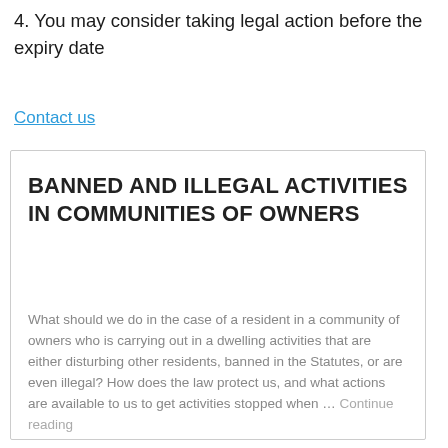4. You may consider taking legal action before the expiry date
Contact us
BANNED AND ILLEGAL ACTIVITIES IN COMMUNITIES OF OWNERS
What should we do in the case of a resident in a community of owners who is carrying out in a dwelling activities that are either disturbing other residents, banned in the Statutes, or are even illegal? How does the law protect us, and what actions are available to us to get activities stopped when … Continue reading